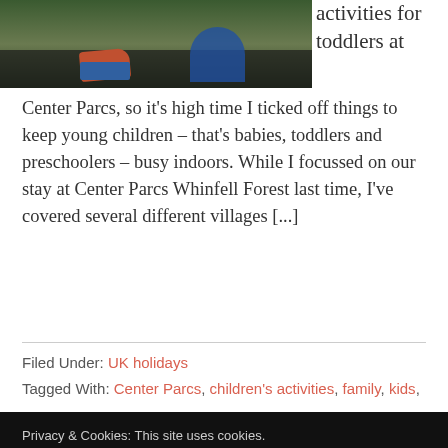[Figure (photo): Photo of children's feet/shoes on a green surface at Center Parcs]
activities for toddlers at Center Parcs, so it's high time I ticked off things to keep young children – that's babies, toddlers and preschoolers – busy indoors. While I focussed on our stay at Center Parcs Whinfell Forest last time, I've covered several different villages [...]
Filed Under: UK holidays
Tagged With: Center Parcs, children's activities, family, kids,
Privacy & Cookies: This site uses cookies. To find out more, as well as how to remove or block these, see here: Our Cookie Policy
Close and accept
Today's Top Picks